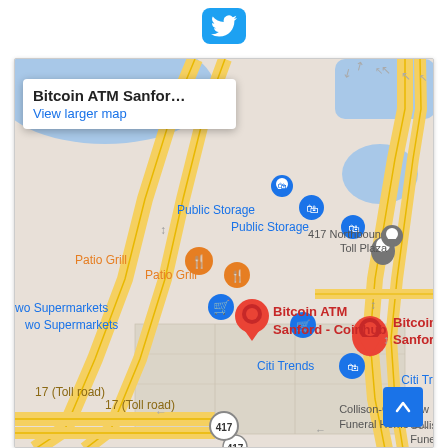[Figure (logo): Twitter bird logo icon, blue rounded square background]
[Figure (map): Google Maps screenshot showing Bitcoin ATM Sanford - Coinhub location. Map shows roads including route 417 (Toll road), nearby landmarks: Public Storage, Patio Grill, wo Supermarkets, 417 Northbound Toll Plaza, Citi Trends, Collison-Gramkow Funeral Home. Info popup shows 'Bitcoin ATM Sanfor...' with 'View larger map' link. Red map pin marks Bitcoin ATM Sanford - Coinhub location. Blue scroll-to-top button in bottom right.]